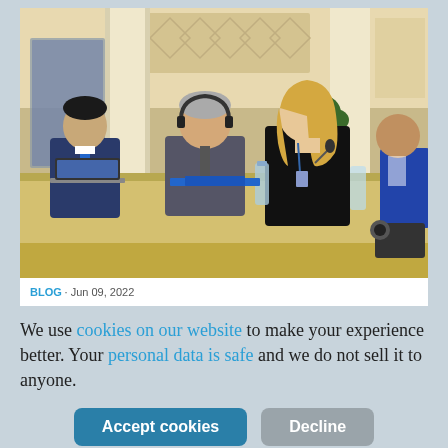[Figure (photo): Conference room scene with several people seated at a long table. A young blonde woman in black is speaking into a microphone. An older man with headphones and a younger dark-haired man in a suit sit to her left. Another man is partially visible on the right. Ornate room with white columns and decorative ceiling visible in background.]
BLOG · Jun 09, 2022
We use cookies on our website to make your experience better. Your personal data is safe and we do not sell it to anyone.